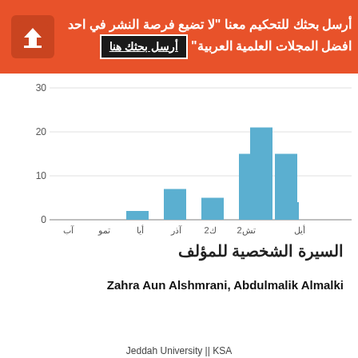[Figure (infographic): Orange banner with Arabic text encouraging researchers to submit papers, with a download icon and a dark button labeled 'أرسل بحثك هنا']
[Figure (bar-chart): ]
السيرة الشخصية للمؤلف
Zahra Aun Alshmrani, Abdulmalik Almalki
[Figure (infographic): WhatsApp contact bar with green WhatsApp icon and Arabic text 'تواصل معنا الآن عبر الواتساب WhatsApp']
Jeddah University || KSA